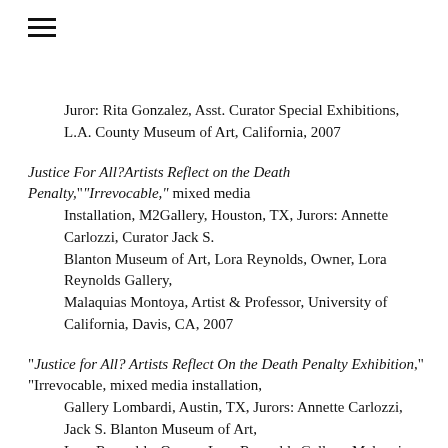≡
Juror: Rita Gonzalez, Asst. Curator Special Exhibitions, L.A. County Museum of Art, California, 2007
Justice For All?Artists Reflect on the Death Penalty,""Irrevocable," mixed media Installation, M2Gallery, Houston, TX, Jurors: Annette Carlozzi, Curator Jack S. Blanton Museum of Art, Lora Reynolds, Owner, Lora Reynolds Gallery, Malaquias Montoya, Artist & Professor, University of California, Davis, CA, 2007
"Justice for All? Artists Reflect On the Death Penalty Exhibition," "Irrevocable, mixed media installation, Gallery Lombardi, Austin, TX, Jurors: Annette Carlozzi, Jack S. Blanton Museum of Art, Lora Reynolds, Owner, Lora Reynolds Gallery, Malaquias Montoya, Artist & Professor, UC Davis, 2007